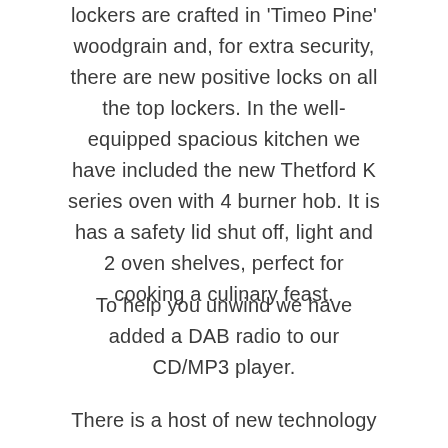lockers are crafted in 'Timeo Pine' woodgrain and, for extra security, there are new positive locks on all the top lockers. In the well-equipped spacious kitchen we have included the new Thetford K series oven with 4 burner hob. It is has a safety lid shut off, light and 2 oven shelves, perfect for cooking a culinary feast.
To help you unwind we have added a DAB radio to our CD/MP3 player.
There is a host of new technology